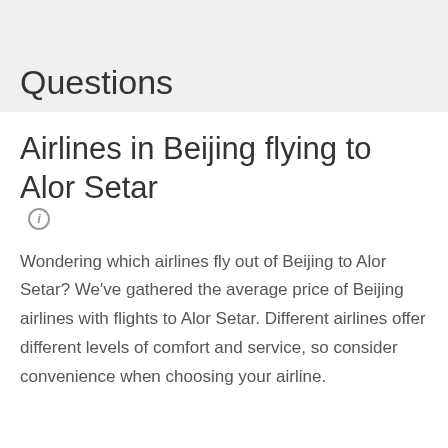Questions
Airlines in Beijing flying to Alor Setar
Wondering which airlines fly out of Beijing to Alor Setar? We've gathered the average price of Beijing airlines with flights to Alor Setar. Different airlines offer different levels of comfort and service, so consider convenience when choosing your airline.